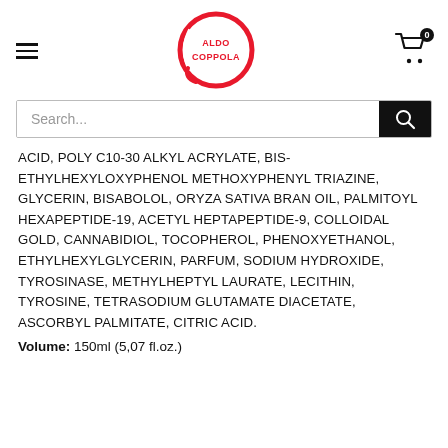Aldo Coppola logo, hamburger menu, cart with 0 items
Search...
ACID, POLY C10-30 ALKYL ACRYLATE, BIS-ETHYLHEXYLOXYPHENOL METHOXYPHENYL TRIAZINE, GLYCERIN, BISABOLOL, ORYZA SATIVA BRAN OIL, PALMITOYL HEXAPEPTIDE-19, ACETYL HEPTAPEPTIDE-9, COLLOIDAL GOLD, CANNABIDIOL, TOCOPHEROL, PHENOXYETHANOL, ETHYLHEXYLGLYCERIN, PARFUM, SODIUM HYDROXIDE, TYROSINASE, METHYLHEPTYL LAURATE, LECITHIN, TYROSINE, TETRASODIUM GLUTAMATE DIACETATE, ASCORBYL PALMITATE, CITRIC ACID.
Volume: 150ml (5,07 fl.oz.)